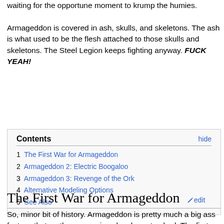waiting for the opportune moment to krump the humies.

Armageddon is covered in ash, skulls, and skeletons. The ash is what used to be the flesh attached to those skulls and skeletons. The Steel Legion keeps fighting anyway. FUCK YEAH!
| Contents | hide |
| --- | --- |
| 1 The First War for Armageddon |  |
| 2 Armageddon 2: Electric Boogaloo |  |
| 3 Armageddon 3: Revenge of the Ork |  |
| 4 Alternative Modeling Options |  |
| 5 See Also |  |
The First War for Armageddon
So, minor bit of history. Armageddon is pretty much a big ass factory, that on three occasions has been trashed. The first time, Angron decided it would make for a nice summer home, and